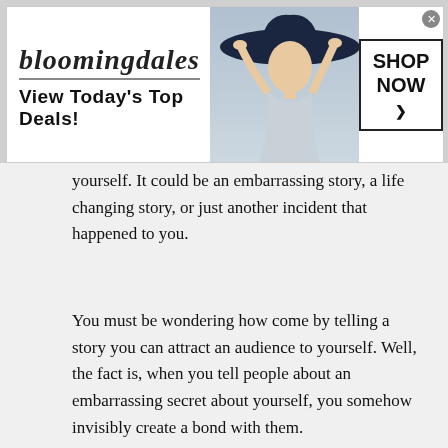[Figure (screenshot): Bloomingdales advertisement banner with logo, model in hat, Shop Now button. Text: bloomingdales, View Today's Top Deals!, SHOP NOW >]
yourself. It could be an embarrassing story, a life changing story, or just another incident that happened to you.
You must be wondering how come by telling a story you can attract an audience to yourself. Well, the fact is, when you tell people about an embarrassing secret about yourself, you somehow invisibly create a bond with them.
People start to think about your embarrassing story
[Figure (screenshot): Fanatics advertisement: EXCLUSIVE BONUS, EARN 4X FanCash on NFL Hoodies, SHOP NOW button, red and white hoodie image]